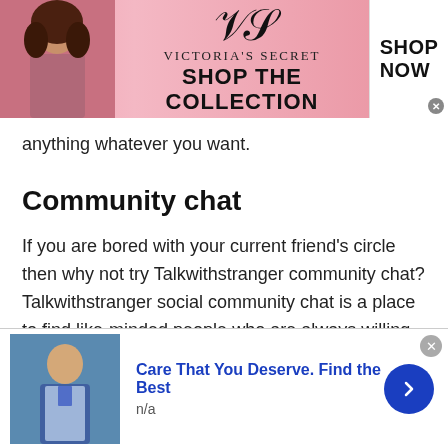[Figure (screenshot): Victoria's Secret advertisement banner with model photo on left, VS logo and text 'SHOP THE COLLECTION' in center, 'SHOP NOW' button on right]
anything whatever you want.
Community chat
If you are bored with your current friend's circle then why not try Talkwithstranger community chat? Talkwithstranger social community chat is a place to find like-minded people who are always willing to connect and discuss different topics of interests.
[Figure (screenshot): Bottom advertisement banner with medical professional photo, title 'Care That You Deserve. Find the Best', subtitle 'n/a', and a blue arrow button]